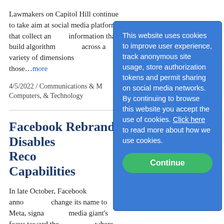Lawmakers on Capitol Hill continue to take aim at social media platforms that collect and use information that build algorithms across a variety of dimensions those…more
4/5/2022 / Communications & Media, Computers, & Technology
Facebook Rebrands, Disables Facial Recognition Capabilities
In late October, Facebook announced a change its name to Meta, signaling the media giant's focus toward the metaverse, where social media, gaming, augmented reality, virtual reality,…more
[Figure (screenshot): Cookie consent popup overlay with blue background. Text reads: 'This website uses cookies to improve user experience, track anonymous site usage, store authorization tokens and permit sharing on social media networks. By continuing to browse this website you accept the use of cookies. Click here to read more about how we use cookies.' A green 'Continue' button is at the bottom.]